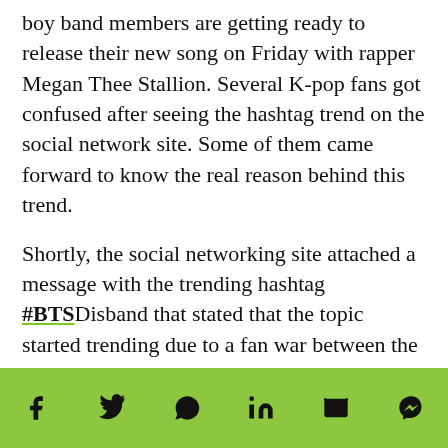boy band members are getting ready to release their new song on Friday with rapper Megan Thee Stallion. Several K-pop fans got confused after seeing the hashtag trend on the social network site. Some of them came forward to know the real reason behind this trend.
Shortly, the social networking site attached a message with the trending hashtag #BTSDisband that stated that the topic started trending due to a fan war between the two K-pop bands. The message read: "BTS is not disbanding, but there is a conflict within the K-pop fan community.
Some of the K-pop fans quickly came forward and criticized the people who were behind the trending hashtag. While a few Korean music lovers stated that it
[Figure (infographic): Social media share bar with icons: Facebook, Twitter, WhatsApp, LinkedIn, Email, Messenger on a green background]